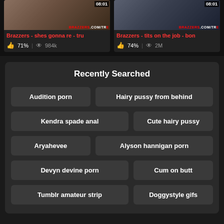[Figure (screenshot): Two video thumbnails for Brazzers videos with thumbnails, titles, like percentages and view counts]
Brazzers - shes gonna re - tru
71% | 984k
Brazzers - tits on the job - bon
74% | 2M
Recently Searched
Audition porn
Hairy pussy from behind
Kendra spade anal
Cute hairy pussy
Aryahevee
Alyson hannigan porn
Devyn devine porn
Cum on butt
Tumblr amateur strip
Doggystyle gifs